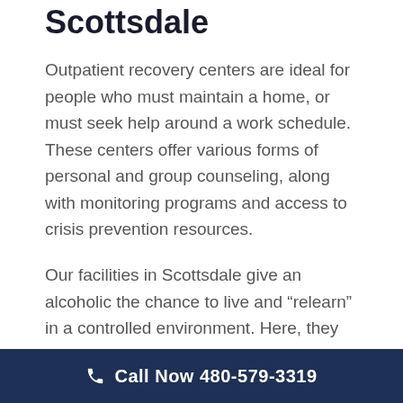Scottsdale
Outpatient recovery centers are ideal for people who must maintain a home, or must seek help around a work schedule. These centers offer various forms of personal and group counseling, along with monitoring programs and access to crisis prevention resources.
Our facilities in Scottsdale give an alcoholic the chance to live and “relearn” in a controlled environment. Here, they will be monitored around the clock by professionals who understand the habits, propensities, and physical or emotional
Call Now 480-579-3319